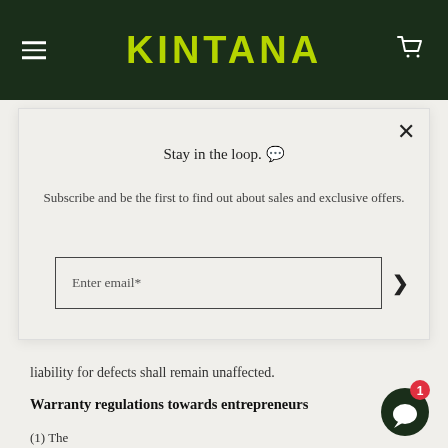KINTANA
Stay in the loop. 🌿
Subscribe and be the first to find out about sales and exclusive offers.
Enter email*
liability for defects shall remain unaffected.
Warranty regulations towards entrepreneurs
(1) The...